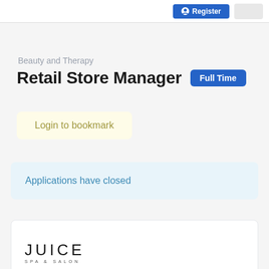Register
Beauty and Therapy
Retail Store Manager
Full Time
Login to bookmark
Applications have closed
[Figure (logo): Juice Spa & Salon logo]